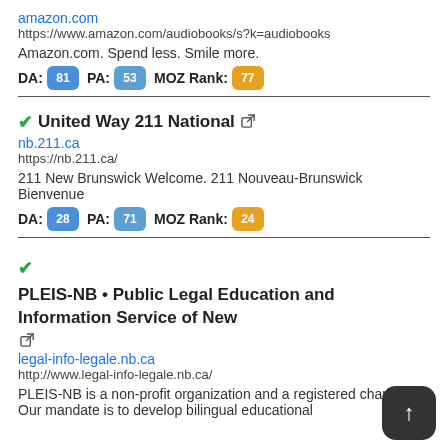amazon.com
https://www.amazon.com/audiobooks/s?k=audiobooks

Amazon.com. Spend less. Smile more.

DA: 81  PA: 53  MOZ Rank: 77
✔United Way 211 National
nb.211.ca
https://nb.211.ca/

211 New Brunswick Welcome. 211 Nouveau-Brunswick Bienvenue

DA: 28  PA: 71  MOZ Rank: 24
✔PLEIS-NB • Public Legal Education and Information Service of New
legal-info-legale.nb.ca
http://www.legal-info-legale.nb.ca/

PLEIS-NB is a non-profit organization and a registered charity. Our mandate is to develop bilingual educational